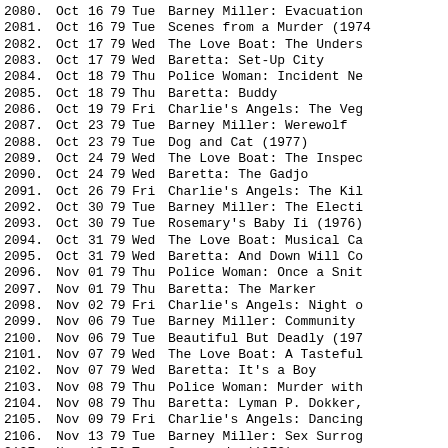| # | Month | Day | Year | DOW | Title |
| --- | --- | --- | --- | --- | --- |
| 2080. | Oct | 16 | 79 | Tue | Barney Miller: Evacuation |
| 2081. | Oct | 16 | 79 | Tue | Scenes from a Murder (1974 |
| 2082. | Oct | 17 | 79 | Wed | The Love Boat: The Unders |
| 2083. | Oct | 17 | 79 | Wed | Baretta: Set-Up City |
| 2084. | Oct | 18 | 79 | Thu | Police Woman: Incident Ne |
| 2085. | Oct | 18 | 79 | Thu | Baretta: Buddy |
| 2086. | Oct | 19 | 79 | Fri | Charlie's Angels: The Veg |
| 2087. | Oct | 23 | 79 | Tue | Barney Miller: Werewolf |
| 2088. | Oct | 23 | 79 | Tue | Dog and Cat (1977) |
| 2089. | Oct | 24 | 79 | Wed | The Love Boat: The Inspec |
| 2090. | Oct | 24 | 79 | Wed | Baretta: The Gadjo |
| 2091. | Oct | 26 | 79 | Fri | Charlie's Angels: The Kil |
| 2092. | Oct | 30 | 79 | Tue | Barney Miller: The Electi |
| 2093. | Oct | 30 | 79 | Tue | Rosemary's Baby Ii (1976) |
| 2094. | Oct | 31 | 79 | Wed | The Love Boat: Musical Ca |
| 2095. | Oct | 31 | 79 | Wed | Baretta: And Down Will Co |
| 2096. | Nov | 01 | 79 | Thu | Police Woman: Once a Snit |
| 2097. | Nov | 01 | 79 | Thu | Baretta: The Marker |
| 2098. | Nov | 02 | 79 | Fri | Charlie's Angels: Night o |
| 2099. | Nov | 06 | 79 | Tue | Barney Miller: Community |
| 2100. | Nov | 06 | 79 | Tue | Beautiful But Deadly (197 |
| 2101. | Nov | 07 | 79 | Wed | The Love Boat: A Tasteful |
| 2102. | Nov | 07 | 79 | Wed | Baretta: It's a Boy |
| 2103. | Nov | 08 | 79 | Thu | Police Woman: Murder with |
| 2104. | Nov | 08 | 79 | Thu | Baretta: Lyman P. Dokker, |
| 2105. | Nov | 09 | 79 | Fri | Charlie's Angels: Dancing |
| 2106. | Nov | 13 | 79 | Tue | Barney Miller: Sex Surrog |
| 2107. | Nov | 13 | 79 | Tue | Crescendo (1972) |
| 2108. | Nov | 14 | 79 | Wed | The Love Boat: Ex Plus Y/ |
| 2109. | Nov | 14 | 79 | Wed | Baretta: The Bundle |